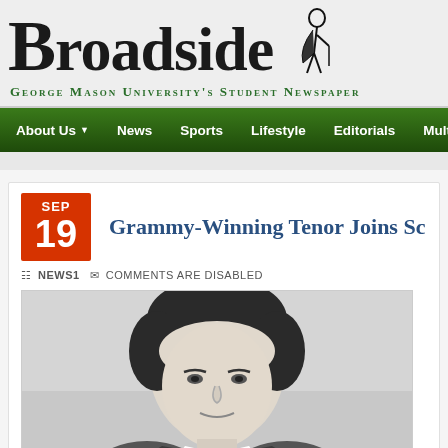Broadside — George Mason University's Student Newspaper
About Us  News  Sports  Lifestyle  Editorials  Multimedia
Grammy-Winning Tenor Joins Sc
SEP 19  NEWS1  COMMENTS ARE DISABLED
[Figure (photo): Black and white headshot portrait of a man with dark hair, facing slightly left]